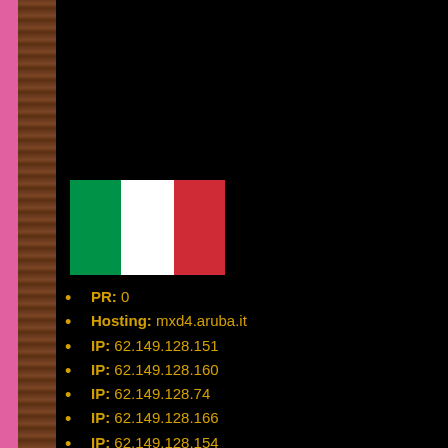[Figure (illustration): Italian flag (green, white, red vertical stripes)]
PR: 0
Hosting: mxd4.aruba.it
IP: 62.149.128.151
IP: 62.149.128.160
IP: 62.149.128.74
IP: 62.149.128.166
IP: 62.149.128.154
IP: 62.149.128.157
IP: 62.149.128.163
IP: 62.149.128.72
Country: IT
DNS Record: mx.systemlab.it
DNS Record: dns.technorail.com
DNS Record: dns4.arubadns.cz